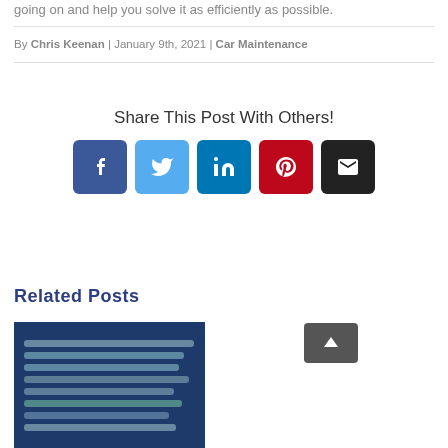going on and help you solve it as efficiently as possible.
By Chris Keenan | January 9th, 2021 | Car Maintenance
Share This Post With Others!
[Figure (infographic): Social sharing buttons: Facebook (blue), Twitter (light blue), LinkedIn (dark blue), Pinterest (red), Email (black)]
Related Posts
[Figure (photo): Photo of wrenches/tools laid out on a dark blue surface]
[Figure (photo): Photo of a blue BMW car parked outdoors with greenery in background]